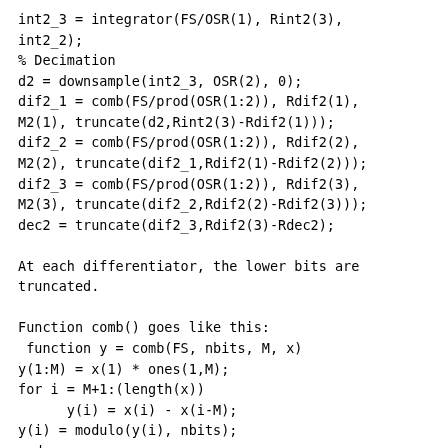int2_3 = integrator(FS/OSR(1), Rint2(3),
int2_2);
% Decimation
d2 = downsample(int2_3, OSR(2), 0);
dif2_1 = comb(FS/prod(OSR(1:2)), Rdif2(1),
M2(1), truncate(d2,Rint2(3)-Rdif2(1)));
dif2_2 = comb(FS/prod(OSR(1:2)), Rdif2(2),
M2(2), truncate(dif2_1,Rdif2(1)-Rdif2(2)));
dif2_3 = comb(FS/prod(OSR(1:2)), Rdif2(3),
M2(3), truncate(dif2_2,Rdif2(2)-Rdif2(3)));
dec2 = truncate(dif2_3,Rdif2(3)-Rdec2);

At each differentiator, the lower bits are
truncated.

Function comb() goes like this:
 function y = comb(FS, nbits, M, x)
y(1:M) = x(1) * ones(1,M);
for i = M+1:(length(x))
      y(i) = x(i) - x(i-M);
y(i) = modulo(y(i), nbits);
end

Function x=modulo(x,nbits)
        R = 2^nbits;
        delta = 1;          %quantization